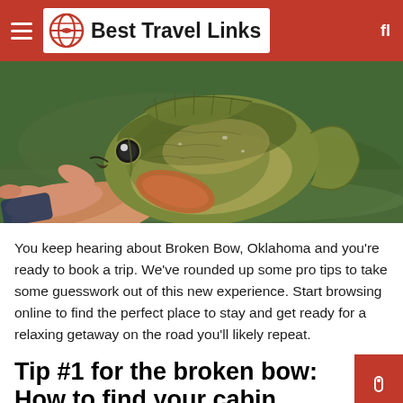Best Travel Links
[Figure (photo): A hand holding a freshwater fish (green sunfish or similar) just above water, with green murky water in the background.]
You keep hearing about Broken Bow, Oklahoma and you're ready to book a trip. We've rounded up some pro tips to take some guesswork out of this new experience. Start browsing online to find the perfect place to stay and get ready for a relaxing getaway on the road you'll likely repeat.
Tip #1 for the broken bow: How to find your cabin